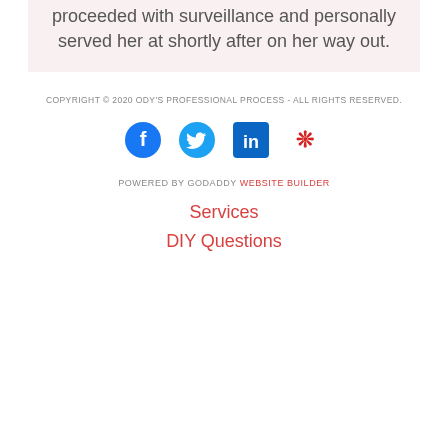proceeded with surveillance and personally served her at shortly after on her way out.
COPYRIGHT © 2020 ODY'S PROFESSIONAL PROCESS - ALL RIGHTS RESERVED.
[Figure (infographic): Row of four social media icons: Facebook (blue circle), Twitter (blue bird), LinkedIn (blue square), Yelp (red burst)]
POWERED BY GODADDY WEBSITE BUILDER
Services
DIY Questions